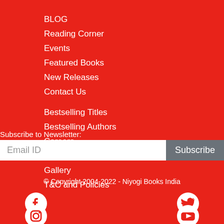BLOG
Reading Corner
Events
Featured Books
New Releases
Contact Us
Bestselling Titles
Bestselling Authors
Careers
Press Release
Gallery
T&C and Policies
Subscribe to Newsletter:
Email ID
Subscribe
© Copyright 2004-2022 - Niyogi Books India
[Figure (infographic): Social media icons: Facebook, Twitter, Instagram, YouTube]